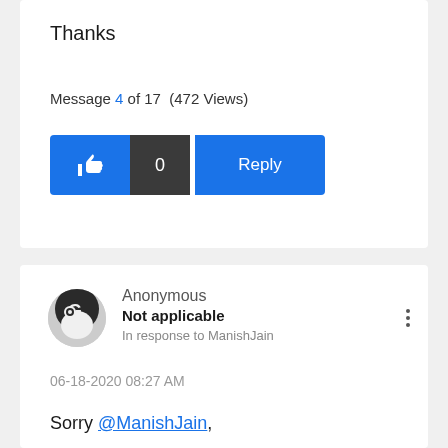Thanks
Message 4 of 17  (472 Views)
[Figure (other): Like button with thumbs up icon, count 0, and Reply button]
Anonymous
Not applicable
In response to ManishJain
06-18-2020 08:27 AM
Sorry @ManishJain,